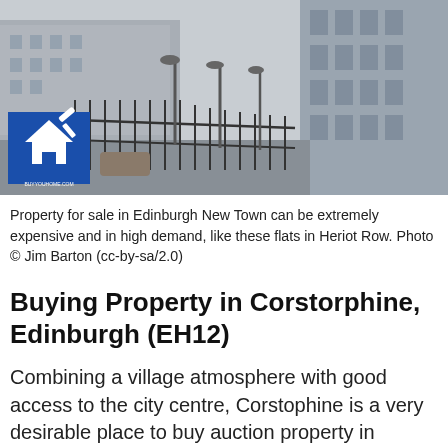[Figure (photo): Street photograph of Edinburgh New Town, showing Georgian terraced buildings and iron railings along a street, with a small blue real estate logo overlay in the bottom left corner.]
Property for sale in Edinburgh New Town can be extremely expensive and in high demand, like these flats in Heriot Row. Photo © Jim Barton (cc-by-sa/2.0)
Buying Property in Corstorphine, Edinburgh (EH12)
Combining a village atmosphere with good access to the city centre, Corstophine is a very desirable place to buy auction property in